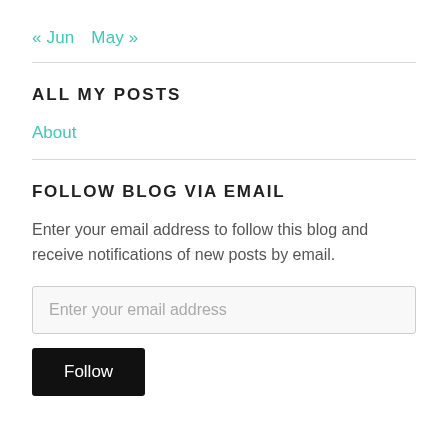« Jun  May »
ALL MY POSTS
About
FOLLOW BLOG VIA EMAIL
Enter your email address to follow this blog and receive notifications of new posts by email.
Enter your email address
Follow